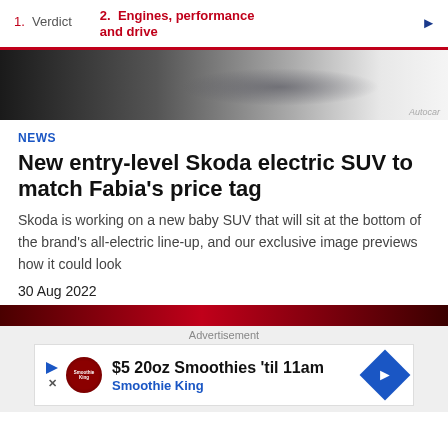1. Verdict  2. Engines, performance and drive
[Figure (photo): Partial view of a dark Skoda SUV on a white background, showing the rear quarter and wheel]
NEWS
New entry-level Skoda electric SUV to match Fabia's price tag
Skoda is working on a new baby SUV that will sit at the bottom of the brand's all-electric line-up, and our exclusive image previews how it could look
30 Aug 2022
[Figure (other): Dark red/maroon banner strip]
Advertisement
[Figure (other): Smoothie King advertisement: $5 20oz Smoothies 'til 11am, Smoothie King]